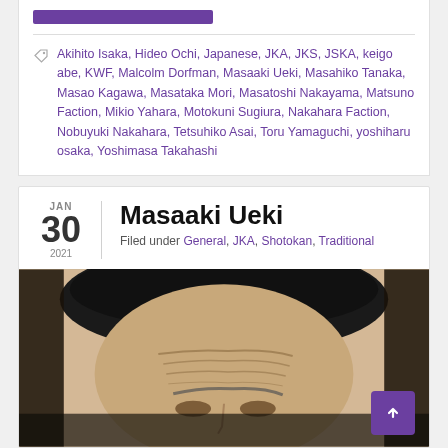[Figure (other): Purple button/bar at top of card section]
Akihito Isaka, Hideo Ochi, Japanese, JKA, JKS, JSKA, keigo abe, KWF, Malcolm Dorfman, Masaaki Ueki, Masahiko Tanaka, Masao Kagawa, Masataka Mori, Masatoshi Nakayama, Matsuno Faction, Mikio Yahara, Motokuni Sugiura, Nakahara Faction, Nobuyuki Nakahara, Tetsuhiko Asai, Toru Yamaguchi, yoshiharu osaka, Yoshimasa Takahashi
Masaaki Ueki
Filed under General, JKA, Shotokan, Traditional
[Figure (photo): Close-up sepia-toned photograph of a man's face, hair visible at top, forehead prominently shown]